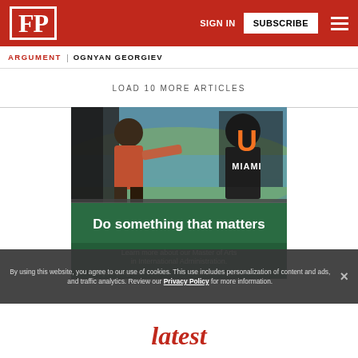FP | SIGN IN | SUBSCRIBE
ARGUMENT | OGNYAN GEORGIEV
LOAD 10 MORE ARTICLES
[Figure (photo): University of Miami advertisement: aerial photo of coastline with people looking out of aircraft, with green banner reading 'Do something that matters. Learn more about our Master of Arts in International Administration. -1 year program, -Hybrid option, -No GRE required, -Tuition assistance']
By using this website, you agree to our use of cookies. This use includes personalization of content and ads, and traffic analytics. Review our Privacy Policy for more information.
latest